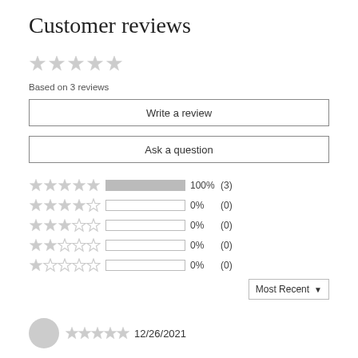Customer reviews
[Figure (other): 5 gray stars rating display (overall)]
Based on 3 reviews
Write a review
Ask a question
[Figure (bar-chart): Rating breakdown: 5 stars 100% (3), 4 stars 0% (0), 3 stars 0% (0), 2 stars 0% (0), 1 star 0% (0)]
Most Recent
[Figure (other): User avatar circle and 5 stars with date 12/26/2021]